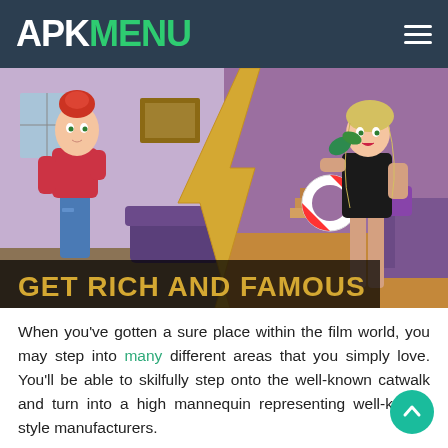APKMENU
[Figure (illustration): Game screenshot showing two cartoon female characters side by side split by a lightning bolt. Left side: a girl in a red university shirt and jeans in a messy apartment. Right side: a glamorous girl in a black swimsuit in a luxury setting. Text overlay reads 'GET RICH AND FAMOUS' in gold letters.]
When you've gotten a sure place within the film world, you may step into many different areas that you simply love. You'll be able to skilfully step onto the well-known catwalk and turn into a high mannequin representing well-known style manufacturers.